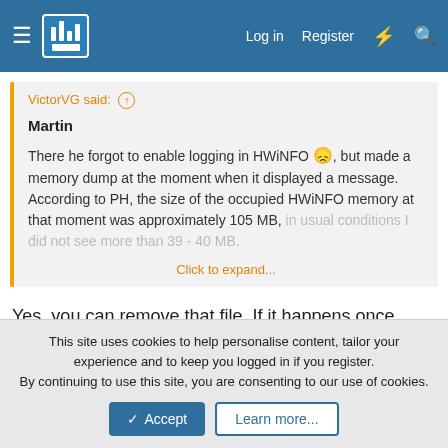HWiNFO forum header with Log in, Register, and search icons
VictorVG said: ↑

Martin

There he forgot to enable logging in HWiNFO 😕, but made a memory dump at the moment when it displayed a message. According to PH, the size of the occupied HWiNFO memory at that moment was approximately 105 MB, in usual conditions I did not see more than 39 - 40 MB.

Click to expand...
Yes, you can remove that file. If it happens once again please make sure to create the HWiNFO Debug File.
This site uses cookies to help personalise content, tailor your experience and to keep you logged in if you register.
By continuing to use this site, you are consenting to our use of cookies.